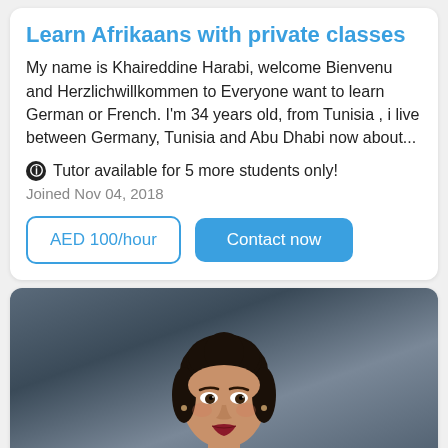Learn Afrikaans with private classes
My name is Khaireddine Harabi, welcome Bienvenu and Herzlichwillkommen to Everyone want to learn German or French. I'm 34 years old, from Tunisia , i live between Germany, Tunisia and Abu Dhabi now about...
Tutor available for 5 more students only!
Joined Nov 04, 2018
AED 100/hour
Contact now
[Figure (photo): Photo of a woman with dark hair pulled back, wearing a light blue top, photographed against a dark grey/blue background. She is looking at the camera.]